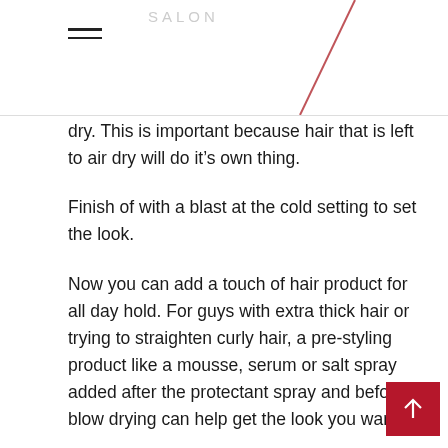SALON
dry. This is important because hair that is left to air dry will do it’s own thing.
Finish of with a blast at the cold setting to set the look.
Now you can add a touch of hair product for all day hold. For guys with extra thick hair or trying to straighten curly hair, a pre-styling product like a mousse, serum or salt spray added after the protectant spray and before blow drying can help get the look you want.
Blow drying for men is really easy and effective way to up your hair game. Watch your barber or a couple of videos for the technique but it really takes a bit of practice. There’s no way to go wrong.
Make sure to look for a blow dryer with multiple heat